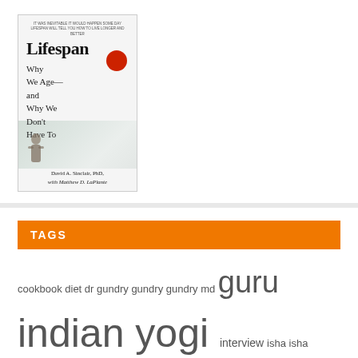[Figure (illustration): Book cover of 'Lifespan: Why We Age — and Why We Don't Have To' by David A. Sinclair, PhD, with Matthew D. LaPlante]
TAGS
cookbook diet dr gundry gundry gundry md guru indian yogi interview isha isha foundation jaggi lectin free lectins longevity mysticism nutrition plant paradox plant paradox diet podcast sad guru Sadguru sadguru speeches sadguru